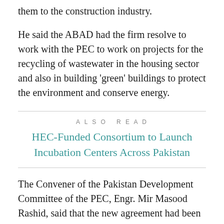them to the construction industry.
He said the ABAD had the firm resolve to work with the PEC to work on projects for the recycling of wastewater in the housing sector and also in building 'green' buildings to protect the environment and conserve energy.
ALSO READ
HEC-Funded Consortium to Launch Incubation Centers Across Pakistan
The Convener of the Pakistan Development Committee of the PEC, Engr. Mir Masood Rashid, said that the new agreement had been envisaged by his committee in line with its efforts to give